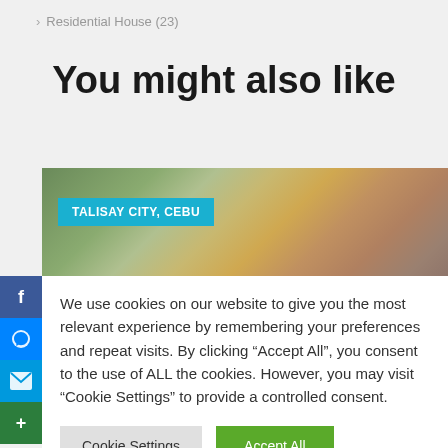> Residential House (23)
You might also like
[Figure (photo): Photo of a residential property with trees and wall, with a cyan badge reading TALISAY CITY, CEBU]
We use cookies on our website to give you the most relevant experience by remembering your preferences and repeat visits. By clicking “Accept All”, you consent to the use of ALL the cookies. However, you may visit "Cookie Settings" to provide a controlled consent.
Cookie Settings | Accept All